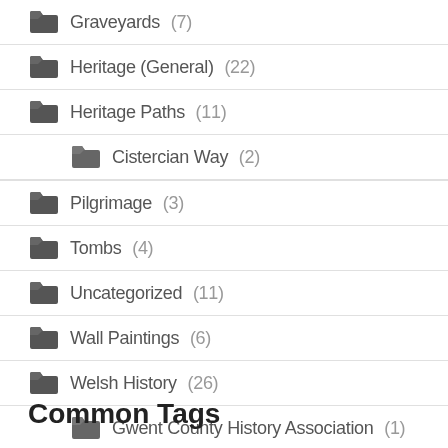Graveyards (7)
Heritage (General) (22)
Heritage Paths (11)
Cistercian Way (2)
Pilgrimage (3)
Tombs (4)
Uncategorized (11)
Wall Paintings (6)
Welsh History (26)
Gwent County History Association (1)
Common Tags